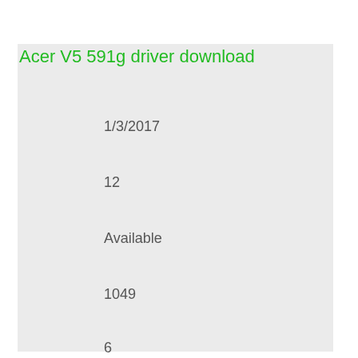Acer V5 591g driver download
1/3/2017
12
Available
1049
6